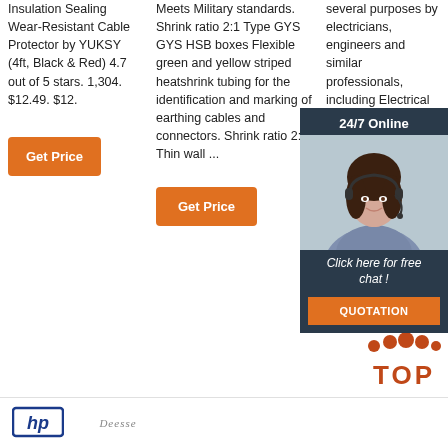Insulation Sealing Wear-Resistant Cable Protector by YUKSY (4ft, Black & Red) 4.7 out of 5 stars. 1,304. $12.49. $12.
Get Price
Meets Military standards. Shrink ratio 2:1 Type GYS GYS HSB boxes Flexible green and yellow striped heatshrink tubing for the identification and marking of earthing cables and connectors. Shrink ratio 2:1 Thin wall ...
Get Price
several purposes by electricians, engineers and similar professionals, including Electrical insulation for example a damaged exposed wire. Protection from dust, chemicals, moisture and abrasion
[Figure (photo): Chat widget overlay with woman wearing headset, 24/7 Online label, Click here for free chat, and QUOTATION button]
Get Price
[Figure (logo): TOP logo with orange dots above text]
[Figure (logo): HP logo]
[Figure (logo): Deesse logo]